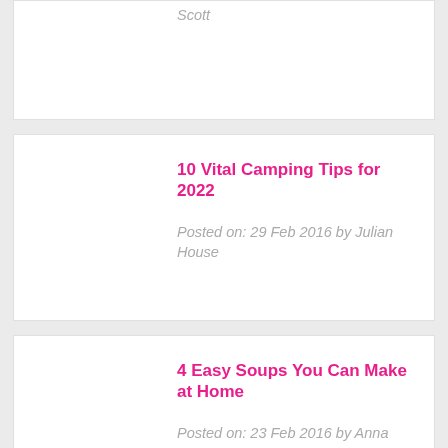Scott
10 Vital Camping Tips for 2022
Posted on: 29 Feb 2016 by Julian House
4 Easy Soups You Can Make at Home
Posted on: 23 Feb 2016 by Anna Scott